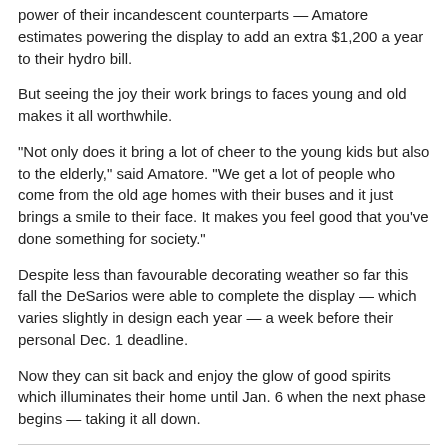power of their incandescent counterparts — Amatore estimates powering the display to add an extra $1,200 a year to their hydro bill.
But seeing the joy their work brings to faces young and old makes it all worthwhile.
“Not only does it bring a lot of cheer to the young kids but also to the elderly,” said Amatore. “We get a lot of people who come from the old age homes with their buses and it just brings a smile to their face. It makes you feel good that you’ve done something for society.”
Despite less than favourable decorating weather so far this fall the DeSarios were able to complete the display — which varies slightly in design each year — a week before their personal Dec. 1 deadline.
Now they can sit back and enjoy the glow of good spirits which illuminates their home until Jan. 6 when the next phase begins — taking it all down.
[Figure (other): Tweet button with Twitter bird icon]